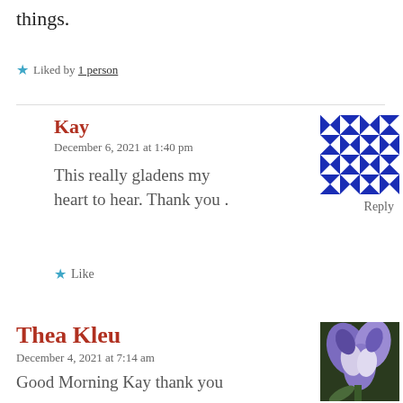things.
★ Liked by 1 person
Kay
December 6, 2021 at 1:40 pm
This really gladens my heart to hear. Thank you .
Reply
[Figure (illustration): Blue and white geometric quilt pattern avatar for user Kay]
★ Like
Thea Kleu
December 4, 2021 at 7:14 am
Good Morning Kay thank you
[Figure (photo): Photo of purple and white iris flowers for user Thea Kleu]